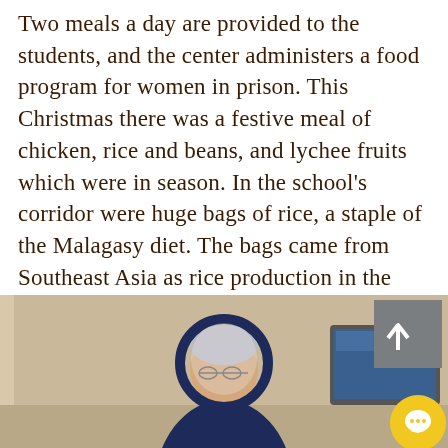Two meals a day are provided to the students, and the center administers a food program for women in prison. This Christmas there was a festive meal of chicken, rice and beans, and lychee fruits which were in season. In the school's corridor were huge bags of rice, a staple of the Malagasy diet. The bags came from Southeast Asia as rice production in the country is essentially for farmers' families and the local market.
[Figure (photo): A partial photo showing a nun or religious woman wearing a blue and white veil/habit, with a computer screen visible on the right side of the image. The background has a warm beige/tan wall color. A gray back-to-top button with an upward chevron arrow is overlaid in the upper right of the photo, and a yellow circular chat button is in the lower right.]